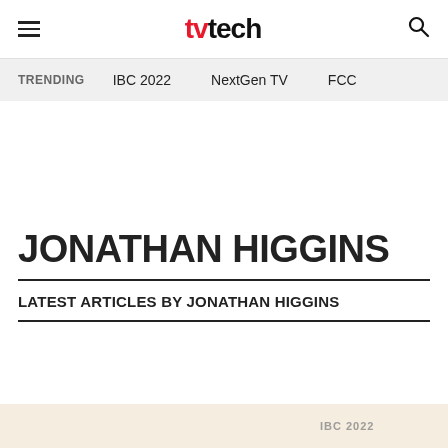tvtech — hamburger menu, logo, search
TRENDING   IBC 2022   NextGen TV   FCC
JONATHAN HIGGINS
LATEST ARTICLES BY JONATHAN HIGGINS